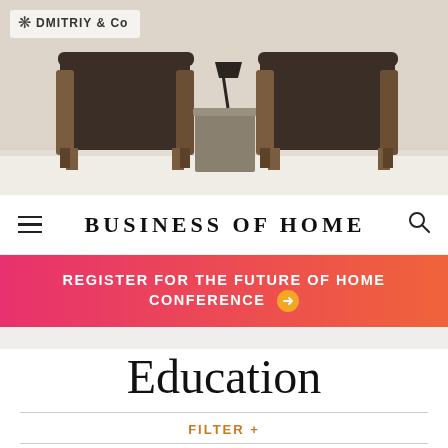[Figure (photo): Advertisement photo showing two dark brown upholstered armchairs with wooden frames flanking a concrete side table with a floor lamp, against a light beige wall. Dmitriy & Co logo in top left corner.]
BUSINESS OF HOME
REGISTER FOR THE FUTURE OF HOME CONFERENCE →
Education
FILTER +